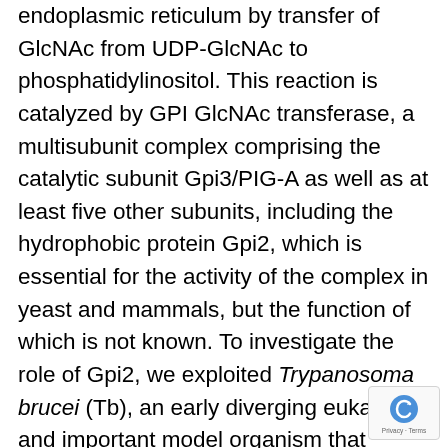endoplasmic reticulum by transfer of GlcNAc from UDP-GlcNAc to phosphatidylinositol. This reaction is catalyzed by GPI GlcNAc transferase, a multisubunit complex comprising the catalytic subunit Gpi3/PIG-A as well as at least five other subunits, including the hydrophobic protein Gpi2, which is essential for the activity of the complex in yeast and mammals, but the function of which is not known. To investigate the role of Gpi2, we exploited Trypanosoma brucei (Tb), an early diverging eukaryote and important model organism that initially provided the first insights into GPI structure and biosynthesis. We generated insect-stage (procyclic) trypanosomes that lack TbGPI2 and found that in TbGPI2-null parasites, (i) GPI GlcNAc transferase activity is reduced, but not lost, in contrast with yeast and